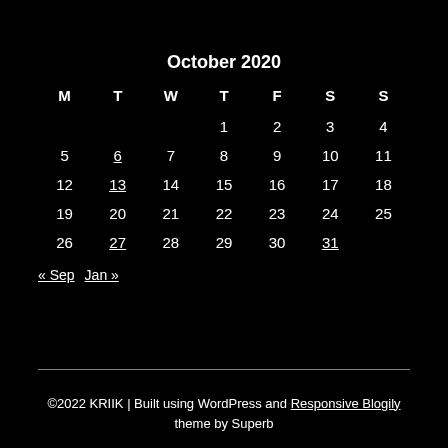October 2020
| M | T | W | T | F | S | S |
| --- | --- | --- | --- | --- | --- | --- |
|  |  |  | 1 | 2 | 3 | 4 |
| 5 | 6 | 7 | 8 | 9 | 10 | 11 |
| 12 | 13 | 14 | 15 | 16 | 17 | 18 |
| 19 | 20 | 21 | 22 | 23 | 24 | 25 |
| 26 | 27 | 28 | 29 | 30 | 31 |  |
« Sep  Jan »
©2022 KRIIK | Built using WordPress and Responsive Blogily theme by Superb